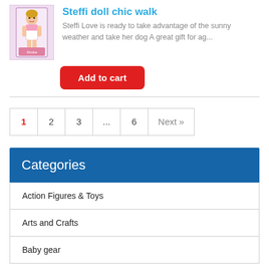[Figure (photo): Product image of Steffi doll in packaging]
Steffi doll chic walk
Steffi Love is ready to take advantage of the sunny weather and take her dog A great gift for ag...
Add to cart
1  2  3  ...  6  Next »
Categories
Action Figures & Toys
Arts and Crafts
Baby gear